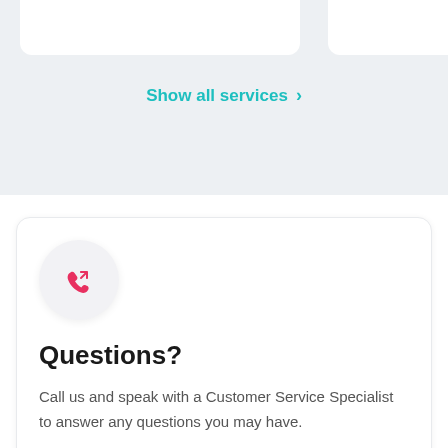Show all services >
[Figure (illustration): Phone/call icon in a light grey circle, pink/red color]
Questions?
Call us and speak with a Customer Service Specialist to answer any questions you may have.
020 8123 1838